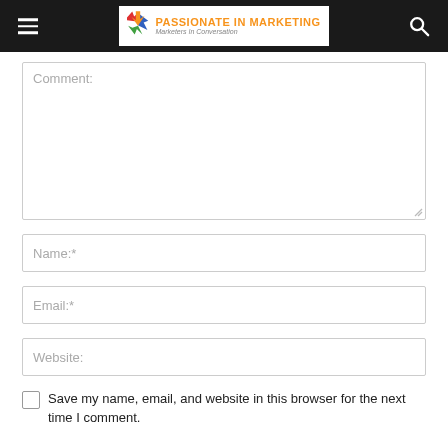Passionate in Marketing — Marketers In Conversation
Comment:
Name:*
Email:*
Website:
Save my name, email, and website in this browser for the next time I comment.